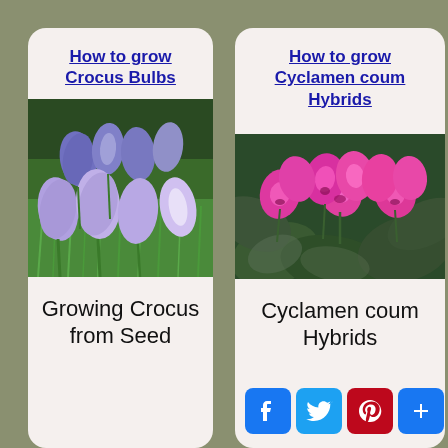How to grow Crocus Bulbs
[Figure (photo): Purple and lavender crocus flowers growing in green grass]
Growing Crocus from Seed
How to grow Cyclamen coum Hybrids
[Figure (photo): Bright pink Cyclamen coum Hybrids flowers with dark green leaves]
Cyclamen coum Hybrids